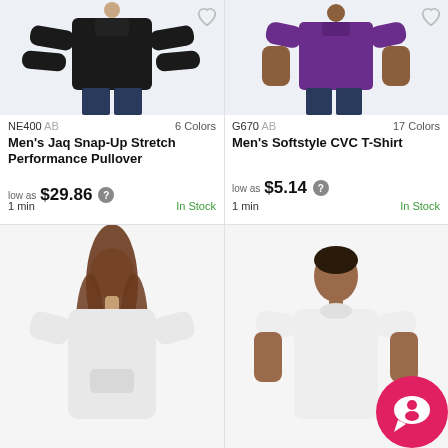[Figure (photo): Model wearing black long-sleeve snap-up stretch performance pullover, cropped at waist, dark blue jeans, light grey background]
NE400 AB   6 Colors
Men's Jaq Snap-Up Stretch Performance Pullover
low as $29.86 ?
1 min   In Stock
[Figure (photo): Model wearing purple short-sleeve t-shirt, dark blue jeans, light grey background]
G670 AB   17 Colors
Men's Softstyle CVC T-Shirt
low as $5.14 ?
1 min   In Stock
[Figure (photo): Female model wearing white hoodie/pullover, light background]
[Figure (photo): Male model wearing white t-shirt, light background, with red chat bubble widget in corner]